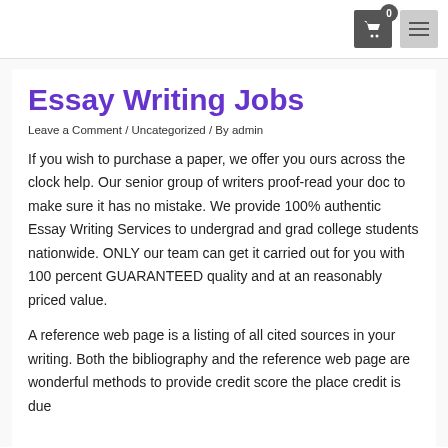0 [cart icon] [menu icon]
Essay Writing Jobs
Leave a Comment / Uncategorized / By admin
If you wish to purchase a paper, we offer you ours across the clock help. Our senior group of writers proof-read your doc to make sure it has no mistake. We provide 100% authentic Essay Writing Services to undergrad and grad college students nationwide. ONLY our team can get it carried out for you with 100 percent GUARANTEED quality and at an reasonably priced value.
A reference web page is a listing of all cited sources in your writing. Both the bibliography and the reference web page are wonderful methods to provide credit score the place credit is due